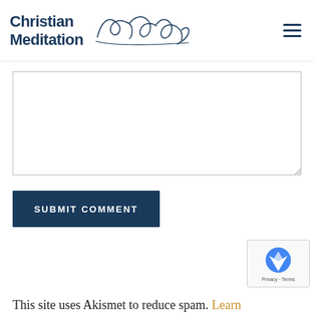Christian Meditation Jackie Troffmann
[Figure (other): Comment textarea input field with resize handle]
[Figure (other): Submit Comment button — dark navy blue rectangular button with white uppercase text]
[Figure (other): reCAPTCHA badge with Privacy - Terms label]
This site uses Akismet to reduce spam. Learn